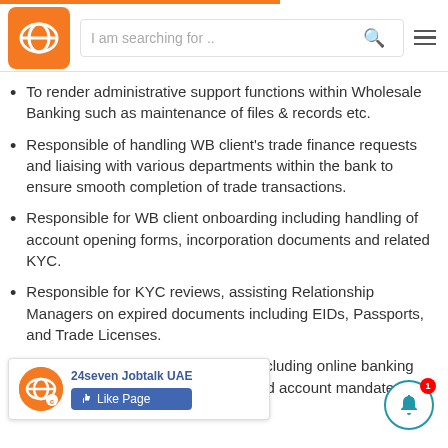24seven Jobtalk UAE — navigation header with search
To render administrative support functions within Wholesale Banking such as maintenance of files & records etc.
Responsible of handling WB client's trade finance requests and liaising with various departments within the bank to ensure smooth completion of trade transactions.
Responsible for WB client onboarding including handling of account opening forms, incorporation documents and related KYC.
Responsible for KYC reviews, assisting Relationship Managers on expired documents including EIDs, Passports, and Trade Licenses.
Handling client's various requests including online banking forms, signature update requests and account mandates, receive LC and hem, etc.